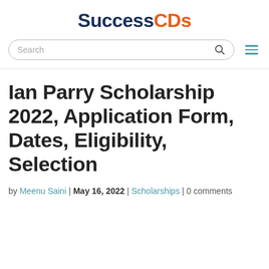SuccessCDs
Ian Parry Scholarship 2022, Application Form, Dates, Eligibility, Selection
by Meenu Saini | May 16, 2022 | Scholarships | 0 comments